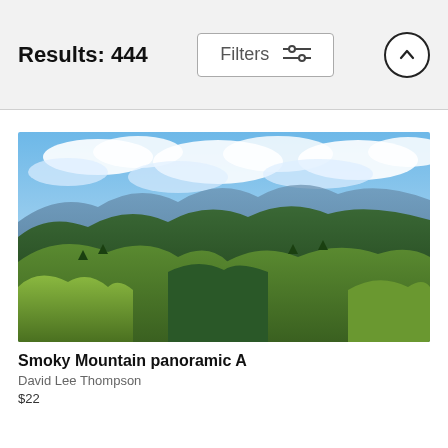Results: 444
[Figure (screenshot): Filters button with sliders icon and up-arrow circle button in the header bar]
[Figure (photo): Panoramic photo of Smoky Mountain with lush green forested hills and blue sky with clouds]
Smoky Mountain panoramic A
David Lee Thompson
$22